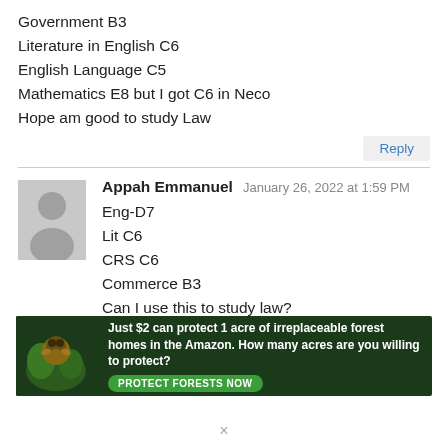Government B3
Literature in English C6
English Language C5
Mathematics E8 but I got C6 in Neco
Hope am good to study Law
Reply
Appah Emmanuel  January 26, 2022 at 1:59 PM
Eng-D7
Lit C6
CRS C6
Commerce B3
Can I use this to study law?
Reply
[Figure (infographic): Advertisement banner: forest/Amazon with orangutan, text reading 'Just $2 can protect 1 acre of irreplaceable forest homes in the Amazon. How many acres are you willing to protect?' with green 'PROTECT FORESTS NOW' button.]